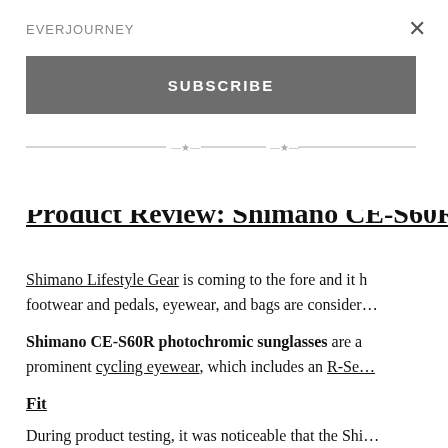EVERJOURNEY
SUBSCRIBE
Sunday, May 10, 2015
Product Review: Shimano CE-S60R
Shimano Lifestyle Gear is coming to the fore and it … footwear and pedals, eyewear, and bags are consider…
Shimano CE-S60R photochromic sunglasses are a … prominent cycling eyewear, which includes an R-Se…
Fit
During product testing, it was noticeable that the Shi…